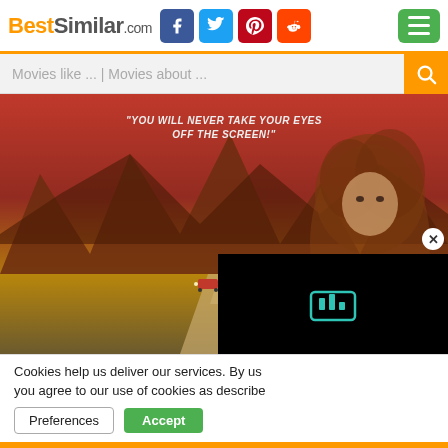BestSimilar.com — navigation header with social icons (Facebook, Twitter, Pinterest, Reddit) and hamburger menu
[Figure (screenshot): Search bar with placeholder text 'Movies like ... | Movies about ...' and orange search button]
[Figure (photo): Movie poster with red/orange mountain landscape background, a car on a road, a woman with curly hair on the right, and quote 'YOU WILL NEVER TAKE YOUR EYES OFF THE SCREEN!' at the top. Black video overlay in bottom right corner with Bandsintown icon. Close button (X) near bottom right.]
Cookies help us deliver our services. By us you agree to our use of cookies as describe
Preferences   Accept